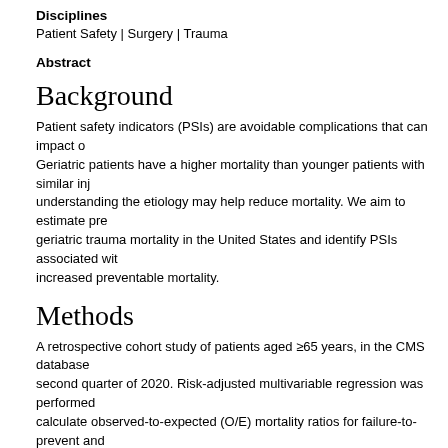Disciplines
Patient Safety | Surgery | Trauma
Abstract
Background
Patient safety indicators (PSIs) are avoidable complications that can impact o... Geriatric patients have a higher mortality than younger patients with similar inj... understanding the etiology may help reduce mortality. We aim to estimate pre... geriatric trauma mortality in the United States and identify PSIs associated wit... increased preventable mortality.
Methods
A retrospective cohort study of patients aged ≥65 years, in the CMS database second quarter of 2020. Risk-adjusted multivariable regression was performed calculate observed-to-expected (O/E) mortality ratios for failure-to-prevent and rescue PSIs with significance defined as P < .05.
Results
3,452,339 geriatric patients were analyzed. Patients aged 75-84 years had 33 odds of preventable mortality (adjusted odds ratio [aOR] = 1.33 and 95% conf interval [CI] = 1.31, 1.36), whereas patients aged ≥85 years had 91% higher o preventable mortality (aOR = 1.91 and 95% CI = 1.87, 1.94) compared to pati...